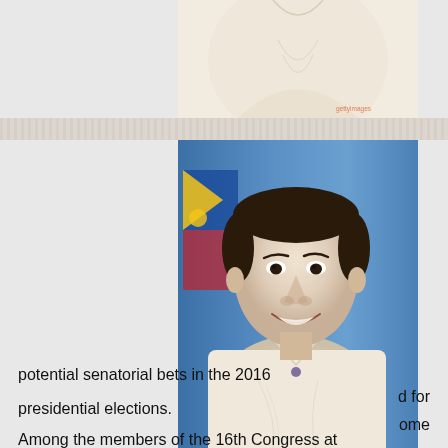[Figure (photo): Partial photo at top, showing a person in a barong tagalog (traditional Filipino formal wear), cropped at the top]
[Figure (photo): Portrait photo of a Filipino male politician smiling, wearing a white barong tagalog, with a Philippine flag in the background (blue and yellow visible). Watermark 'gettyimages' visible at bottom right.]
d for some
potential senatorial bets in the 2016 presidential elections.
Among the members of the 16th Congress at